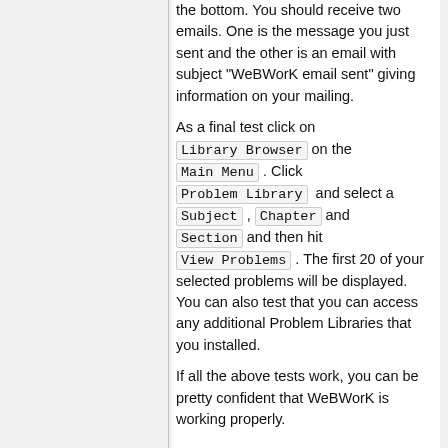the bottom. You should receive two emails. One is the message you just sent and the other is an email with subject "WeBWorK email sent" giving information on your mailing.
As a final test click on Library Browser on the Main Menu . Click Problem Library and select a Subject , Chapter and Section and then hit View Problems . The first 20 of your selected problems will be displayed. You can also test that you can access any additional Problem Libraries that you installed.
If all the above tests work, you can be pretty confident that WeBWorK is working properly.